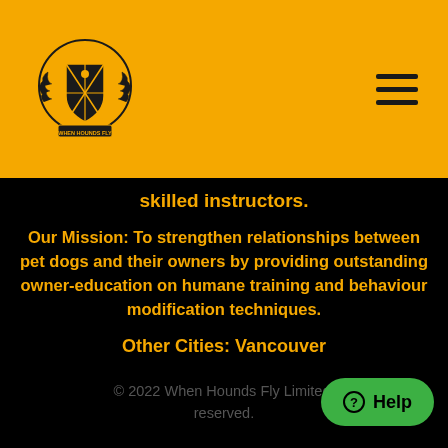[Figure (logo): When Hounds Fly logo — a shield crest with crossed items and laurel wreath, with banner text 'WHEN HOUNDS FLY']
skilled instructors.
Our Mission: To strengthen relationships between pet dogs and their owners by providing outstanding owner-education on humane training and behaviour modification techniques.
Other Cities: Vancouver
Read about our Core Values
Accessibility Policy
© 2022 When Hounds Fly Limited. reserved.